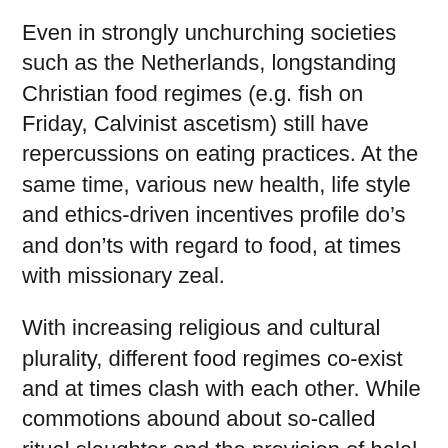Even in strongly unchurching societies such as the Netherlands, longstanding Christian food regimes (e.g. fish on Friday, Calvinist ascetism) still have repercussions on eating practices. At the same time, various new health, life style and ethics-driven incentives profile do’s and don’ts with regard to food, at times with missionary zeal.
With increasing religious and cultural plurality, different food regimes co-exist and at times clash with each other. While commotions abound about so-called ritual slaughter and the provision of halal meat, pork as part of school meals, or the non-availability of alcohol in halal restaurants, it is important to note that